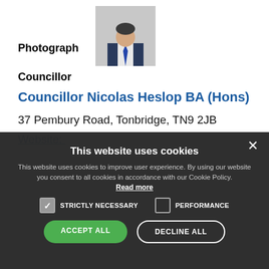[Figure (photo): Headshot photograph of Councillor Nicolas Heslop wearing a suit and tie]
Photograph
Councillor
Councillor Nicolas Heslop BA (Hons)
37 Pembury Road, Tonbridge, TN9 2JB
This website uses cookies
This website uses cookies to improve user experience. By using our website you consent to all cookies in accordance with our Cookie Policy.
Read more
STRICTLY NECESSARY
PERFORMANCE
ACCEPT ALL
DECLINE ALL